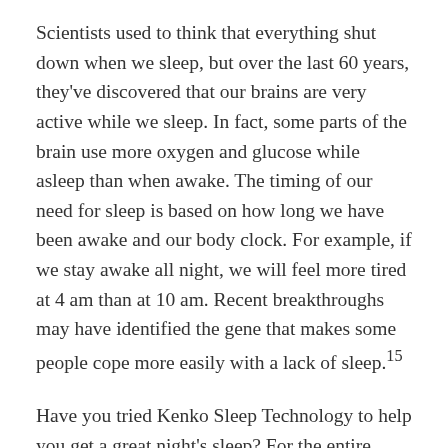Scientists used to think that everything shut down when we sleep, but over the last 60 years, they've discovered that our brains are very active while we sleep. In fact, some parts of the brain use more oxygen and glucose while asleep than when awake. The timing of our need for sleep is based on how long we have been awake and our body clock. For example, if we stay awake all night, we will feel more tired at 4 am than at 10 am. Recent breakthroughs may have identified the gene that makes some people cope more easily with a lack of sleep.15
Have you tried Kenko Sleep Technology to help you get a great night's sleep? For the entire month of November, Nikken Registered Customers will receive cash back in the form of Nikken Reward Points on the purchase of any Kenko Naturest® Fit or any Kenko Sleep Pack. There's nothing else like the Kenko Naturest® Fit anywhere—it's only from Nikken. Designed with natural latex nodules to massage you while you sleep, the